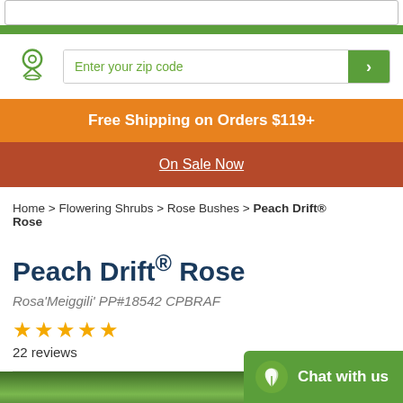Enter your zip code
Free Shipping on Orders $119+
On Sale Now
Home > Flowering Shrubs > Rose Bushes > Peach Drift® Rose
Peach Drift® Rose
Rosa'Meiggili' PP#18542 CPBRAF
★★★★★ 22 reviews
Chat with us